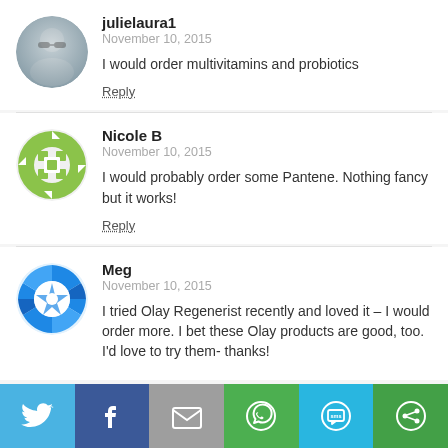julielaura1
November 10, 2015
I would order multivitamins and probiotics
Reply
Nicole B
November 10, 2015
I would probably order some Pantene. Nothing fancy but it works!
Reply
Meg
November 10, 2015
I tried Olay Regenerist recently and loved it – I would order more. I bet these Olay products are good, too. I'd love to try them- thanks!
[Figure (other): Social share bar with icons: Twitter, Facebook, Email, WhatsApp, SMS, Other]